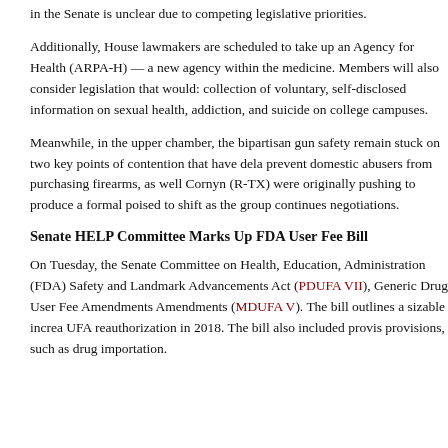in the Senate is unclear due to competing legislative priorities.
Additionally, House lawmakers are scheduled to take up an Agency for Health (ARPA-H) — a new agency within the medicine. Members will also consider legislation that would: collection of voluntary, self-disclosed information on sexual health, addiction, and suicide on college campuses.
Meanwhile, in the upper chamber, the bipartisan gun safety remain stuck on two key points of contention that have dela prevent domestic abusers from purchasing firearms, as well Cornyn (R-TX) were originally pushing to produce a formal poised to shift as the group continues negotiations.
Senate HELP Committee Marks Up FDA User Fee Bill
On Tuesday, the Senate Committee on Health, Education, Administration (FDA) Safety and Landmark Advancements Act (PDUFA VII), Generic Drug User Fee Amendments Amendments (MDUFA V). The bill outlines a sizable increa UFA reauthorization in 2018. The bill also included provis provisions, such as drug importation.